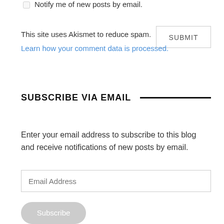☐ Notify me of new posts by email.
This site uses Akismet to reduce spam.
SUBMIT
Learn how your comment data is processed.
SUBSCRIBE VIA EMAIL
Enter your email address to subscribe to this blog and receive notifications of new posts by email.
Email Address
Subscribe